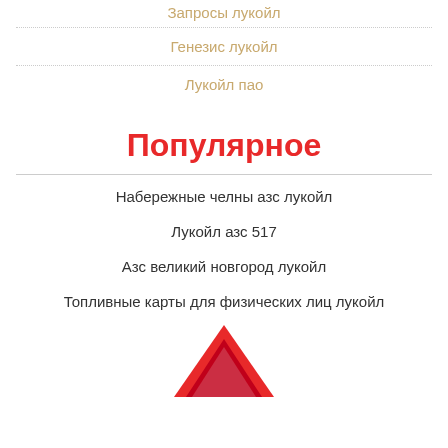Запросы лукойл (partial, top of page)
Генезис лукойл
Лукойл пао
Популярное
Набережные челны азс лукойл
Лукойл азс 517
Азс великий новгород лукойл
Топливные карты для физических лиц лукойл
[Figure (logo): Lukoil red triangle logo (partial, bottom of page)]